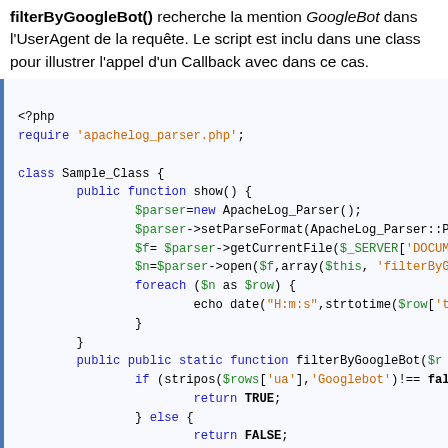filterByGoogleBot() recherche la mention GoogleBot dans l'UserAgent de la requête. Le script est inclu dans une class pour illustrer l'appel d'un Callback avec dans ce cas.
[Figure (screenshot): PHP code block showing a class Sample_Class with methods show() and filterByGoogleBot() with syntax highlighting]